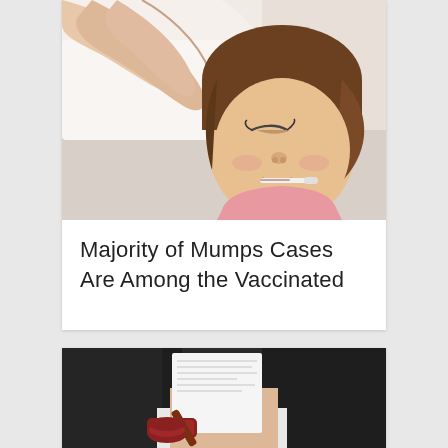[Figure (photo): A sick young girl lying in bed with a thermometer in her mouth, an adult hand feeling her forehead]
Majority of Mumps Cases Are Among the Vaccinated
[Figure (photo): A person in a suit holding a document with a gavel in the foreground, suggesting a legal or official context]